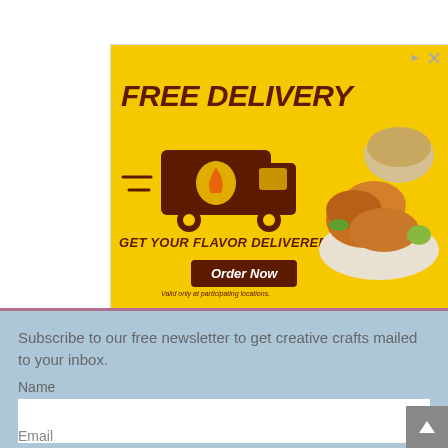[Figure (screenshot): Advertisement banner for Pollo Campero showing 'FREE DELIVERY' with a delivery truck illustration and fried chicken food image. Yellow background with dark brown text. 'GET YOUR FLAVOR DELIVERED!' tagline with 'Order Now' button. Below shows 'Ordena En Linea' app icon and 'Pollo Campero Herndon 10AM-10PM' with map thumbnail and navigation icon.]
Subscribe to our free newsletter to get creative crafts mailed to your inbox.
Name
Email